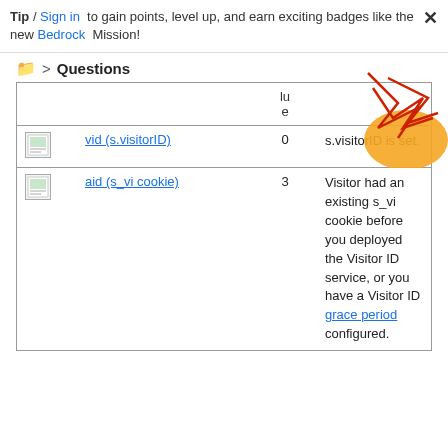Tip / Sign in to gain points, level up, and earn exciting badges like the new Bedrock Mission!
Questions
|  |  | lu e |  |
| --- | --- | --- | --- |
| [icon] | vid (s.visitorID) | 0 | s.visitorID is set. |
| [icon] | aid (s_vi cookie) | 3 | Visitor had an existing s_vi cookie before you deployed the Visitor ID service, or you have a Visitor ID grace period configured. |